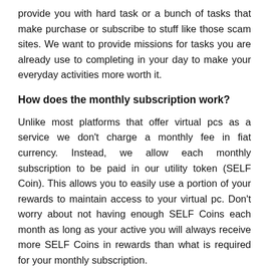provide you with hard task or a bunch of tasks that make purchase or subscribe to stuff like those scam sites. We want to provide missions for tasks you are already use to completing in your day to make your everyday activities more worth it.
How does the monthly subscription work?
Unlike most platforms that offer virtual pcs as a service we don't charge a monthly fee in fiat currency. Instead, we allow each monthly subscription to be paid in our utility token (SELF Coin). This allows you to easily use a portion of your rewards to maintain access to your virtual pc. Don't worry about not having enough SELF Coins each month as long as your active you will always receive more SELF Coins in rewards than what is required for your monthly subscription.
As we get closer to launch, we will provide more details about the Console and a Whitepaper that will provide full details about our SELF Coins and other the core times ati...